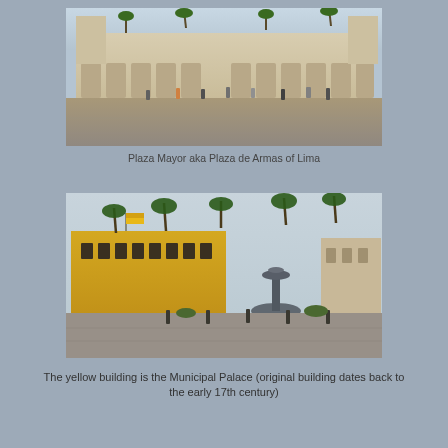[Figure (photo): Plaza Mayor aka Plaza de Armas of Lima — wide shot of a large colonial-era plaza with a grand building facade featuring arches and towers, palm trees, and numerous people walking across the stone-paved square in the foreground.]
Plaza Mayor aka Plaza de Armas of Lima
[Figure (photo): Second photo of Plaza Mayor showing the yellow Municipal Palace building on the left with a yellow flag flying, palm trees, a large ornate fountain in the center, and the stone-paved plaza in the foreground. Other colonial buildings visible on the right.]
The yellow building is the Municipal Palace (original building dates back to the early 17th century)